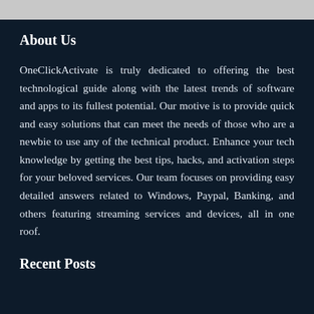About Us
OneClickActivate is truly dedicated to offering the best technological guide along with the latest trends of software and apps to its fullest potential. Our motive is to provide quick and easy solutions that can meet the needs of those who are a newbie to use any of the technical product. Enhance your tech knowledge by getting the best tips, hacks, and activation steps for your beloved services. Our team focuses on providing easy detailed answers related to Windows, Paypal, Banking, and others featuring streaming services and devices, all in one roof.
Recent Posts